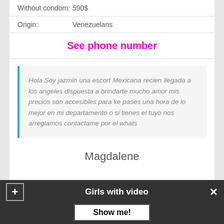| Without condom: | 590$ |
| Origin: | Venezuelans |
See phone number
Hola Soy jazmin una escort Mexicana recien llegada a los angeles dispuesta a brindarte mucho amor mis precios son accesibles para ke pases una hora de lo mejor en mi departamento o si tienes el tuyo nos arreglamos contactame por el whats
Magdalene
Girls with video
Show me!